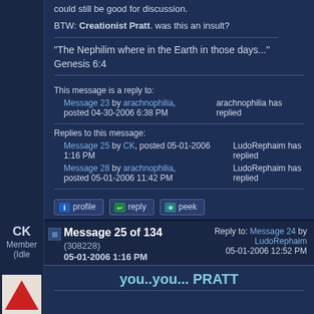could still be good for discussion.
BTW: Creationist Pratt. was this an insult?
"The Nephilim where in the Earth in those days..." Genesis 6:4
This message is a reply to:
Message 23 by arachnophilia, posted 04-30-2006 6:38 PM
arachnophilia has replied
Replies to this message:
Message 25 by CK, posted 05-01-2006 1:16 PM
LudoRephaim has replied
Message 28 by arachnophilia, posted 05-01-2006 11:42 PM
LudoRephaim has replied
CK
Member (Idle past 3465 days)
Message 25 of 134 (308228)
05-01-2006 1:16 PM
Reply to: Message 24 by LudoRephaim
05-01-2006 12:52 PM
you..you... PRATT